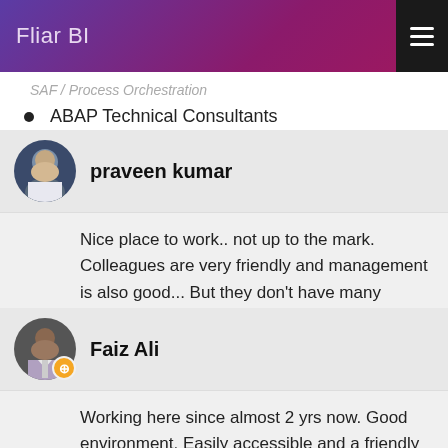Fliar BI
ABAP Technical Consultants
praveen kumar
Nice place to work.. not up to the mark. Colleagues are very friendly and management is also good... But they don't have many client's..
Faiz Ali
Working here since almost 2 yrs now. Good environment. Easily accessible and a friendly head of the company which is rare to watch.